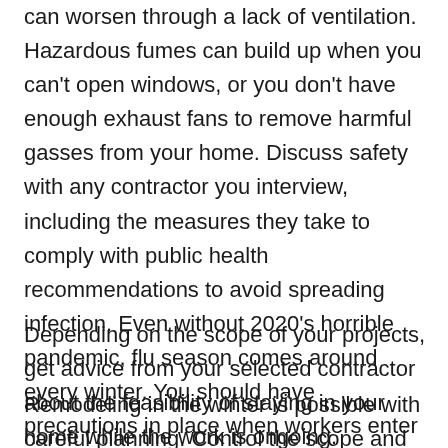can worsen through a lack of ventilation. Hazardous fumes can build up when you can't open windows, or you don't have enough exhaust fans to remove harmful gasses from your home. Discuss safety with any contractor you interview, including the measures they take to comply with public health recommendations to avoid spreading infection. Even without 2020's horrible pandemic, flu season comes around every winter. You should have precautions in place when workers enter your home.
Depending on the scope of your projects, get advice from your selected contractor about the feasibility of staying in your home while the work is ongoing.
Remodeling in the winter is possible with careful planning. Control the scope and schedule of your project to make sure it doesn't extend into the spring, as this is when contractors take on more work and spread out their time over additional